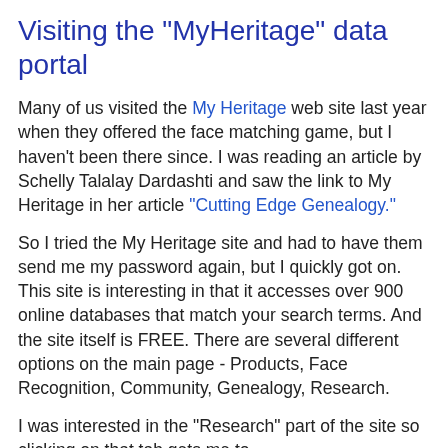Visiting the "MyHeritage" data portal
Many of us visited the My Heritage web site last year when they offered the face matching game, but I haven't been there since. I was reading an article by Schelly Talalay Dardashti and saw the link to My Heritage in her article "Cutting Edge Genealogy."
So I tried the My Heritage site and had to have them send me my password again, but I quickly got on. This site is interesting in that it accesses over 900 online databases that match your search terms. And the site itself is FREE. There are several different options on the main page - Products, Face Recognition, Community, Genealogy, Research.
I was interested in the "Research" part of the site so clicking on that tab gets me to http://www.myheritage.com/FP/Company/myheritage-research.php.
The "How We Do It" link on the Research site says: